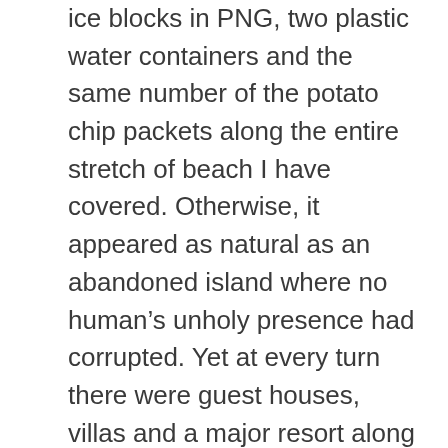ice blocks in PNG, two plastic water containers and the same number of the potato chip packets along the entire stretch of beach I have covered. Otherwise, it appeared as natural as an abandoned island where no human's unholy presence had corrupted. Yet at every turn there were guest houses, villas and a major resort along this beach catering for tourists. And the words came to me stark as if they were written in the sand before me: “Attitude, character, care, respect, manners…..” All human values which expose the world of difference between that Melanesian neighbour and PNG, why it is sustained by tourism even through the difficult period of three coups while a only a sprinkling of them pass